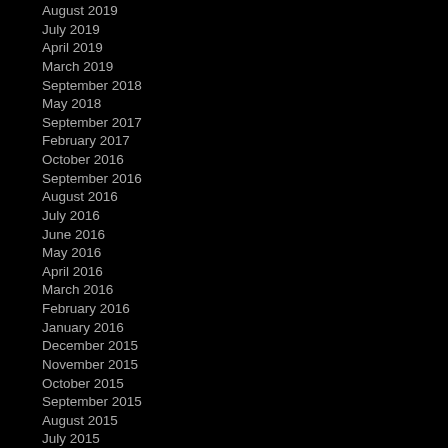August 2019
July 2019
April 2019
March 2019
September 2018
May 2018
September 2017
February 2017
October 2016
September 2016
August 2016
July 2016
June 2016
May 2016
April 2016
March 2016
February 2016
January 2016
December 2015
November 2015
October 2015
September 2015
August 2015
July 2015